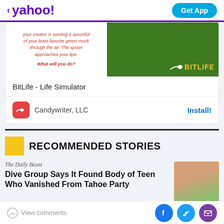yahoo! | Get App
[Figure (screenshot): BitLife - Life Simulator app advertisement showing game screenshot with green slime and sperm logo]
BitLife - Life Simulator
Candywriter, LLC   Install!
RECOMMENDED STORIES
The Daily Beast
Dive Group Says It Found Body of Teen Who Vanished From Tahoe Party
View comments | Facebook | Twitter | Email